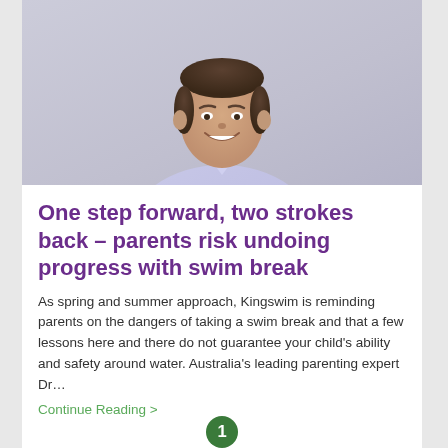[Figure (photo): Professional headshot of a smiling man in a light lavender dress shirt against a light grey background]
One step forward, two strokes back – parents risk undoing progress with swim break
As spring and summer approach, Kingswim is reminding parents on the dangers of taking a swim break and that a few lessons here and there do not guarantee your child's ability and safety around water. Australia's leading parenting expert Dr…
Continue Reading >